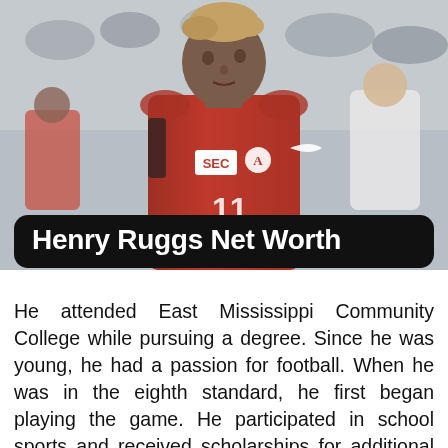[Figure (photo): Henry Ruggs III in Alabama Crimson Tide SEC football uniform (red jersey with SEC and Nike logos, number 11), looking to the side with stadium crowd in background]
Henry Ruggs Net Worth
He attended East Mississippi Community College while pursuing a degree. Since he was young, he had a passion for football. When he was in the eighth standard, he first began playing the game. He participated in school sports and received scholarships for additional competitions. He had a propensity for basketball and track running and